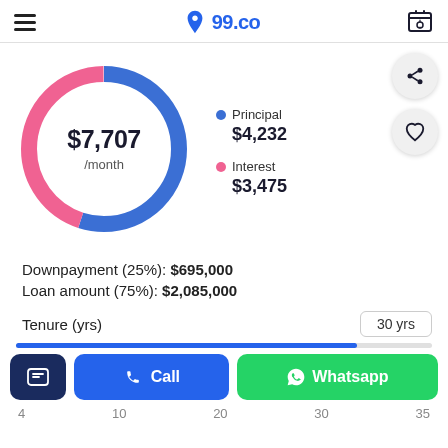99.co
[Figure (donut-chart): Monthly mortgage payment]
Downpayment (25%): $695,000
Loan amount (75%): $2,085,000
Tenure (yrs)
30 yrs